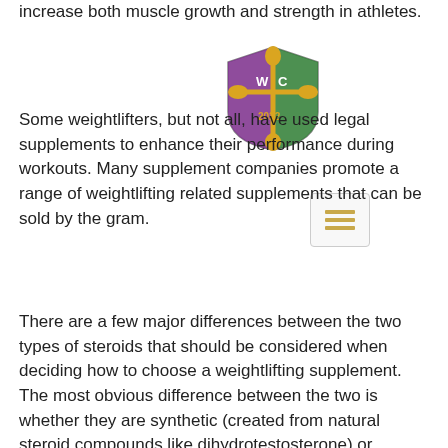increase both muscle growth and strength in athletes.
[Figure (logo): Decorative shield logo with stylized WC or WLG lettering in purple and green with gold fleur-de-lis]
[Figure (other): Menu/hamburger icon with three horizontal lines]
Some weightlifters, but not all, have used legal supplements to enhance their performance during workouts. Many supplement companies promote a range of weightlifting related supplements that can be sold by the gram.
There are a few major differences between the two types of steroids that should be considered when deciding how to choose a weightlifting supplement. The most obvious difference between the two is whether they are synthetic (created from natural steroid compounds like dihydrotestosterone) or natural (the results of the synthesis of natural steroids from naturally existing hormone molecules).
Synthetic steroids are created when natural